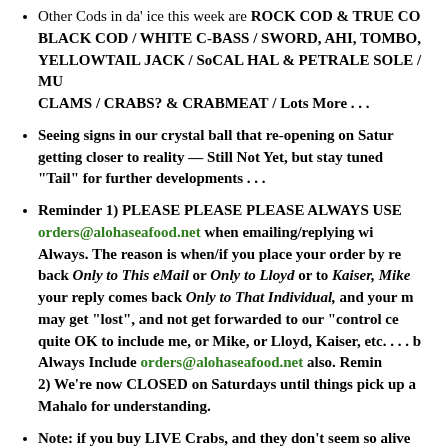Other Cods in da' ice this week are ROCK COD & TRUE COD / BLACK COD / WHITE C-BASS / SWORD, AHI, TOMBO, YELLOWTAIL JACK / SoCAL HAL & PETRALE SOLE / MU CLAMS / CRABS? & CRABMEAT / Lots More ...
Seeing signs in our crystal ball that re-opening on Saturday is getting closer to reality — Still Not Yet, but stay tuned "Tail" for further developments ...
Reminder 1) PLEASE PLEASE PLEASE ALWAYS USE orders@alohaseafood.net when emailing/replying wi Always. The reason is when/if you place your order by re back Only to This eMail or Only to Lloyd or to Kaiser, Mike your reply comes back Only to That Individual, and your m may get "lost", and not get forwarded to our "control ce quite OK to include me, or Mike, or Lloyd, Kaiser, etc. ... b Always Include orders@alohaseafood.net also. Remin 2) We're now CLOSED on Saturdays until things pick up a Mahalo for understanding.
Note: if you buy LIVE Crabs, and they don't seem so alive receive them, PLEASE Cook Them BEFORE you tell us th